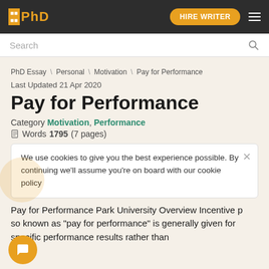PhD — HIRE WRITER
Search
PhD Essay \ Personal \ Motivation \ Pay for Performance
Last Updated 21 Apr 2020
Pay for Performance
Category Motivation, Performance
Words 1795 (7 pages)
We use cookies to give you the best experience possible. By continuing we'll assume you're on board with our cookie policy
Pay for Performance Park University Overview Incentive p… so known as "pay for performance" is generally given for specific performance results rather than